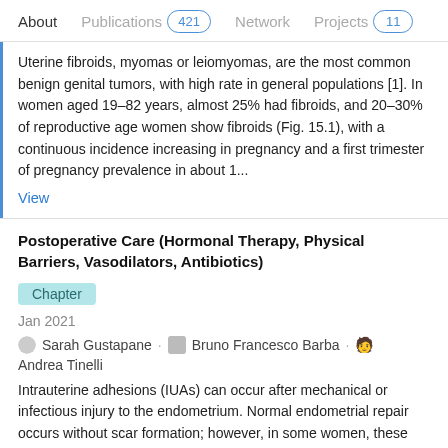About   Publications 421   Network   Projects 11
Uterine fibroids, myomas or leiomyomas, are the most common benign genital tumors, with high rate in general populations [1]. In women aged 19–82 years, almost 25% had fibroids, and 20–30% of reproductive age women show fibroids (Fig. 15.1), with a continuous incidence increasing in pregnancy and a first trimester of pregnancy prevalence in about 1...
View
Postoperative Care (Hormonal Therapy, Physical Barriers, Vasodilators, Antibiotics)
Chapter
Jan 2021
Sarah Gustapane · Bruno Francesco Barba · Andrea Tinelli
Intrauterine adhesions (IUAs) can occur after mechanical or infectious injury to the endometrium. Normal endometrial repair occurs without scar formation; however, in some women, these normal repair mechanisms are aberrant, resulting in IUA